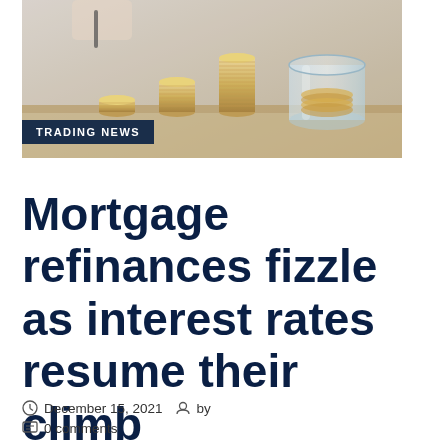[Figure (photo): Photo of stacked coins in increasing height order like a bar chart, with a glass jar full of coins in the background, and a hand holding a pen visible at the top left. Soft focus financial savings concept image.]
TRADING NEWS
Mortgage refinances fizzle as interest rates resume their climb
December 15, 2021  by
0 comments